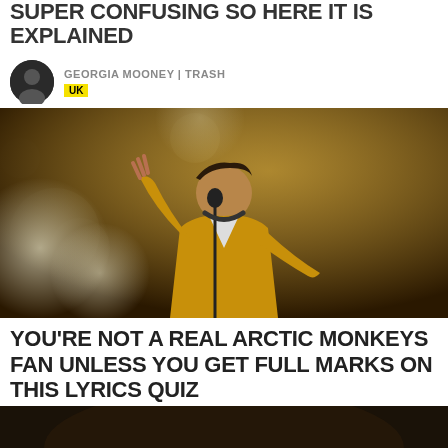SUPER CONFUSING SO HERE IT IS EXPLAINED
GEORGIA MOONEY | TRASH
UK
[Figure (photo): Concert photo of a male performer in a yellow jacket singing at a microphone with one hand raised, stage lights blurred in background]
YOU'RE NOT A REAL ARCTIC MONKEYS FAN UNLESS YOU GET FULL MARKS ON THIS LYRICS QUIZ
DANNY SHAW | TRASH
UK
[Figure (photo): Bottom strip of another article image, partially cropped]